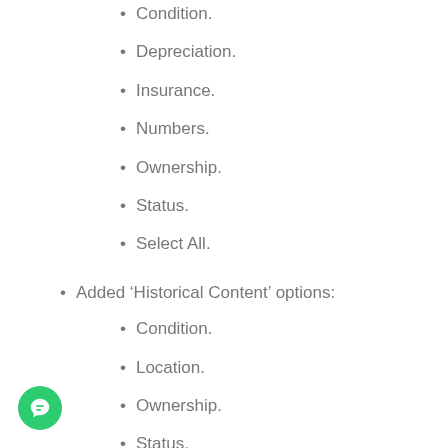Condition.
Depreciation.
Insurance.
Numbers.
Ownership.
Status.
Select All.
Added ‘Historical Content’ options:
Condition.
Location.
Ownership.
Status.